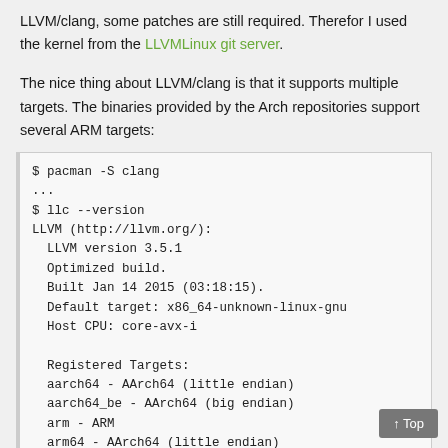LLVM/clang, some patches are still required. Therefor I used the kernel from the LLVMLinux git server.
The nice thing about LLVM/clang is that it supports multiple targets. The binaries provided by the Arch repositories support several ARM targets:
$ pacman -S clang
...
$ llc --version
LLVM (http://llvm.org/):
  LLVM version 3.5.1
  Optimized build.
  Built Jan 14 2015 (03:18:15).
  Default target: x86_64-unknown-linux-gnu
  Host CPU: core-avx-i

  Registered Targets:
  aarch64 - AArch64 (little endian)
  aarch64_be - AArch64 (big endian)
  arm - ARM
  arm64 - AArch64 (little endian)
  arm64_be - AArch64 (big endian)
  armeb - ARM (big endian)
  ...